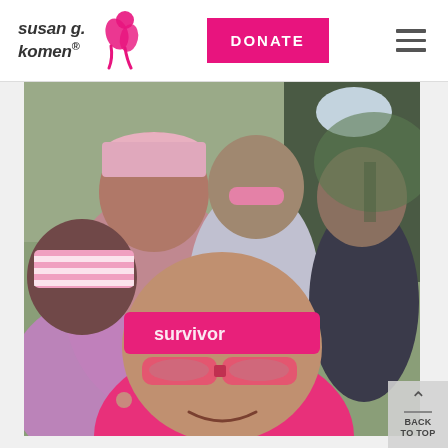Susan G. Komen — DONATE — Navigation menu
[Figure (photo): Group selfie photo of five people dressed in pink attire including pink sunglasses, pink headbands, pink tie-dye shirts, and pink hats at what appears to be a Susan G. Komen Race for the Cure event outdoors]
BACK TO TOP